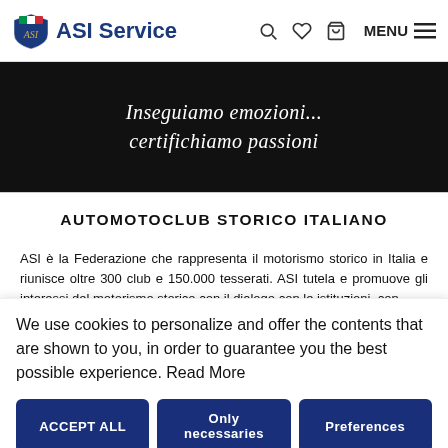ASI Service
[Figure (screenshot): Dark banner with cursive white italic text reading 'Inseguiamo emozioni... certifichiamo passioni']
AUTOMOTOCLUB STORICO ITALIANO
ASI è la Federazione che rappresenta il motorismo storico in Italia e riunisce oltre 300 club e 150.000 tesserati. ASI tutela e promuove gli interessi del motorismo storico con il dialogo con le istituzioni, con
We use cookies to personalize and offer the contents that are shown to you, in order to guarantee you the best possible experience. Read More
ACCEPT ALL
Only necessaries
Preferences
Deny all